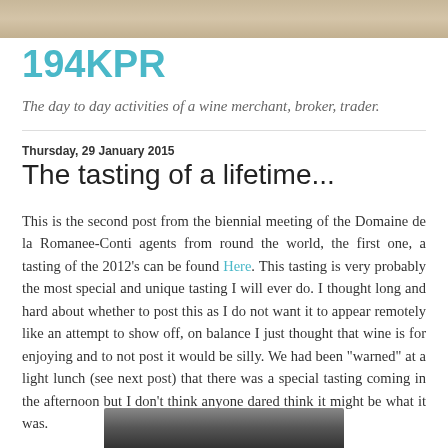[Figure (photo): Header banner image showing a blurred outdoor scene with warm beige/brown tones]
194KPR
The day to day activities of a wine merchant, broker, trader.
Thursday, 29 January 2015
The tasting of a lifetime...
This is the second post from the biennial meeting of the Domaine de la Romanee-Conti agents from round the world, the first one, a tasting of the 2012's can be found Here. This tasting is very probably the most special and unique tasting I will ever do. I thought long and hard about whether to post this as I do not want it to appear remotely like an attempt to show off, on balance I just thought that wine is for enjoying and to not post it would be silly. We had been "warned" at a light lunch (see next post) that there was a special tasting coming in the afternoon but I don't think anyone dared think it might be what it was.
[Figure (photo): Partially visible photo at the bottom of the page, appears dark with outdoor/cellar scene]